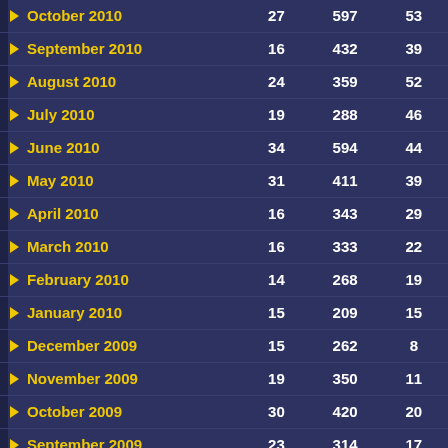| Month | Col1 | Col2 | Col3 |
| --- | --- | --- | --- |
| October 2010 | 27 | 597 | 53 |
| September 2010 | 16 | 432 | 39 |
| August 2010 | 24 | 359 | 52 |
| July 2010 | 19 | 288 | 46 |
| June 2010 | 34 | 594 | 44 |
| May 2010 | 31 | 411 | 39 |
| April 2010 | 16 | 343 | 29 |
| March 2010 | 16 | 333 | 22 |
| February 2010 | 14 | 268 | 19 |
| January 2010 | 15 | 209 | 15 |
| December 2009 | 15 | 262 | 8 |
| November 2009 | 19 | 350 | 11 |
| October 2009 | 30 | 420 | 20 |
| September 2009 | 23 | 314 | 17 |
| August 2009 | 19 | 240 | 16 |
| July 2009 | 20 | 403 | 13 |
| June 2009 | 46 | 509 | 37 |
| May 2009 | 28 | 570 | 25 |
| April 2009 | 16 | 344 | 15 |